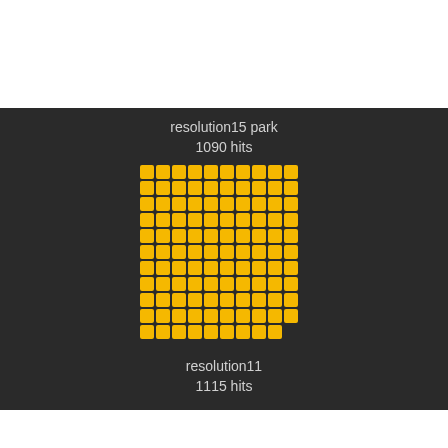[Figure (infographic): Dark background section showing a grid of golden/yellow squares representing H3 hexagonal resolution cells. Above the grid is a label 'resolution15 park / 1090 hits'. Below the grid is a label 'resolution11 / 1115 hits'.]